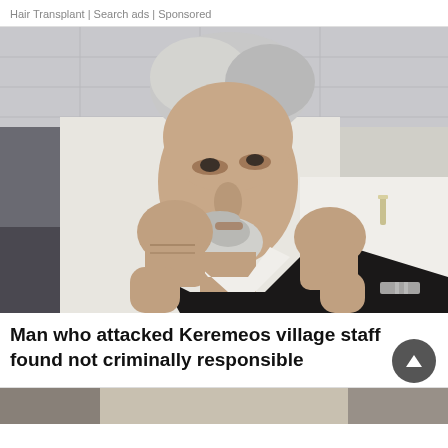Hair Transplant | Search ads | Sponsored
[Figure (photo): A man with silver/white hair and a goatee wearing a black and white martial arts uniform (dobok), posed in a fighting stance with both fists raised toward the camera, photographed in what appears to be a martial arts studio or gym.]
Man who attacked Keremeos village staff found not criminally responsible
[Figure (photo): Partially visible thumbnail image at bottom of page, cut off.]